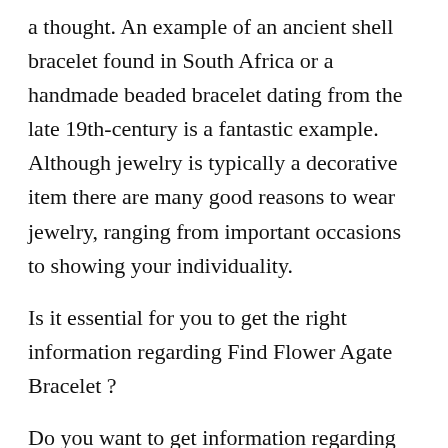a thought. An example of an ancient shell bracelet found in South Africa or a handmade beaded bracelet dating from the late 19th-century is a fantastic example. Although jewelry is typically a decorative item there are many good reasons to wear jewelry, ranging from important occasions to showing your individuality.
Is it essential for you to get the right information regarding Find Flower Agate Bracelet ?
Do you want to get information regarding Find Flower Agate Bracelet?
The word “jewelry” originates via the French word jewel, it was anglicized by the Latin word jocale, meaning “plaything”. In American as well as British English, the word is spelled “jewelry” but in British